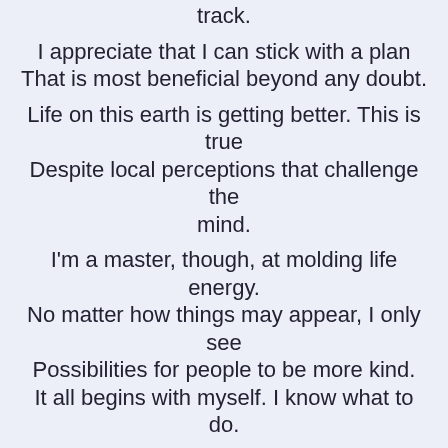track.
I appreciate that I can stick with a plan
That is most beneficial beyond any doubt.

Life on this earth is getting better. This is true
Despite local perceptions that challenge the mind.

I'm a master, though, at molding life energy.
No matter how things may appear, I only see
Possibilities for people to be more kind.
It all begins with myself. I know what to do.
This entry was posted on November 28, 2021, in Spiritual and tagged alignment, alternate reality, blogging, commentary, creative, creative writing, deep thought, dominant vibration, duality, energy, faith, feeling, flight of thought, food for thought, gratitude, hope, knowing, life, Love, magic realism, magic realist, mind travel, new age, new age thought, new thought, nonphysical part, peace, philosophical commentary, philosophical questions, philosophy, planet earth, poetry, psychological, schools of thought, social commentary, spiritual, spiritual commentary, spirituality, thanks, thought, time space reality, universe, vibration, vortex, work, writing.